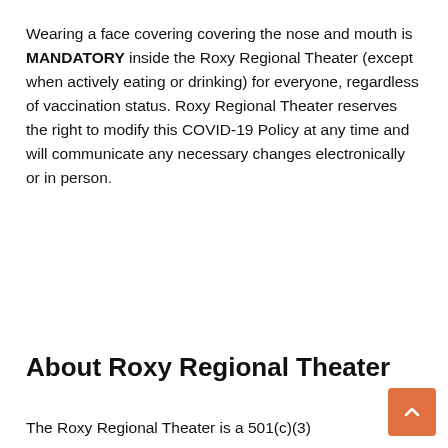Wearing a face covering covering the nose and mouth is MANDATORY inside the Roxy Regional Theater (except when actively eating or drinking) for everyone, regardless of vaccination status. Roxy Regional Theater reserves the right to modify this COVID-19 Policy at any time and will communicate any necessary changes electronically or in person.
About Roxy Regional Theater
The Roxy Regional Theater is a 501(c)(3)